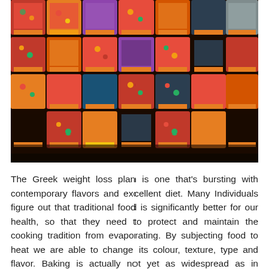[Figure (photo): A photograph of many rows of glass jars filled with colorful preserved vegetables and fruits, arranged on shelves. The jars have yellow/orange lids and contain red, orange, green, and multicolored pickled foods, creating a vibrant mosaic effect.]
The Greek weight loss plan is one that's bursting with contemporary flavors and excellent diet. Many Individuals figure out that traditional food is significantly better for our health, so that they need to protect and maintain the cooking tradition from evaporating. By subjecting food to heat we are able to change its colour, texture, type and flavor. Baking is actually not yet as widespread as in western societies, where not simply bread and